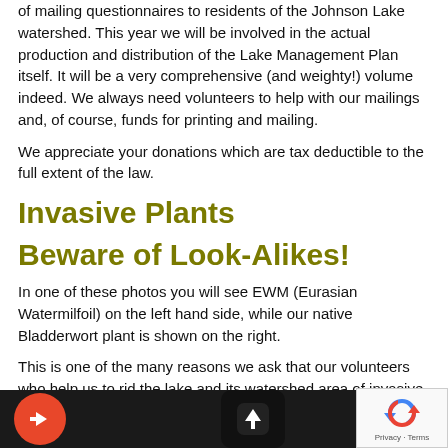of mailing questionnaires to residents of the Johnson Lake watershed. This year we will be involved in the actual production and distribution of the Lake Management Plan itself. It will be a very comprehensive (and weighty!) volume indeed. We always need volunteers to help with our mailings and, of course, funds for printing and mailing.
We appreciate your donations which are tax deductible to the full extent of the law.
Invasive Plants
Beware of Look-Alikes!
In one of these photos you will see EWM (Eurasian Watermilfoil) on the left hand side, while our native Bladderwort plant is shown on the right.
This is one of the many reasons we ask that our volunteers who help us to rid the lake and its watershed area of invasive plants be trained specifically for that purpose!